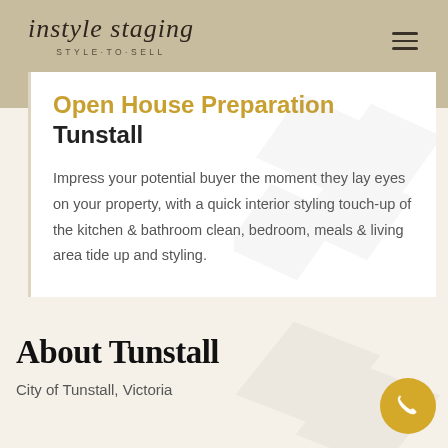instyle staging STYLE·TO·SELL
Open House Preparation Tunstall
Impress your potential buyer the moment they lay eyes on your property, with a quick interior styling touch-up of the kitchen & bathroom clean, bedroom, meals & living area tide up and styling.
About Tunstall
City of Tunstall, Victoria